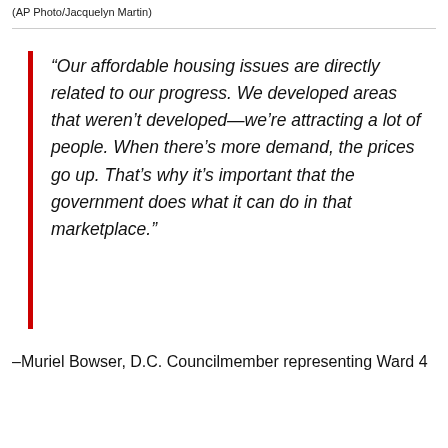(AP Photo/Jacquelyn Martin)
“Our affordable housing issues are directly related to our progress. We developed areas that weren’t developed—we’re attracting a lot of people. When there’s more demand, the prices go up. That’s why it’s important that the government does what it can do in that marketplace.”
–Muriel Bowser, D.C. Councilmember representing Ward 4